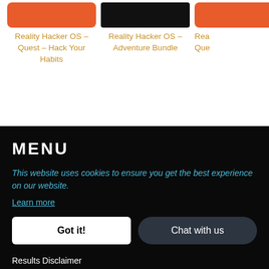Reality Hacker OS – Quest – Hack Your Habits
Reality Hacker OS – Adventure Bundle
Rea Que
MENU
This website uses cookies to ensure you get the best experience on our website.
Learn more
Got it!
Chat with us
Results Disclaimer